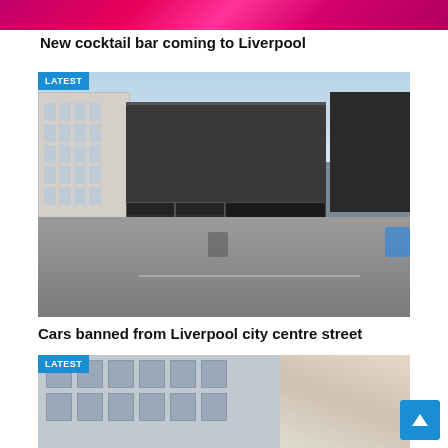[Figure (photo): Partial top of article image showing pink/magenta background, cropped at top]
New cocktail bar coming to Liverpool
[Figure (photo): Street scene of Liverpool city centre showing shops including Millets, buildings, road with cyclist and blue car, lamp posts, LATEST badge overlay]
Cars banned from Liverpool city centre street
[Figure (photo): Modern curved office building facade with grid windows against sky, LATEST badge overlay, partially cut off at bottom]